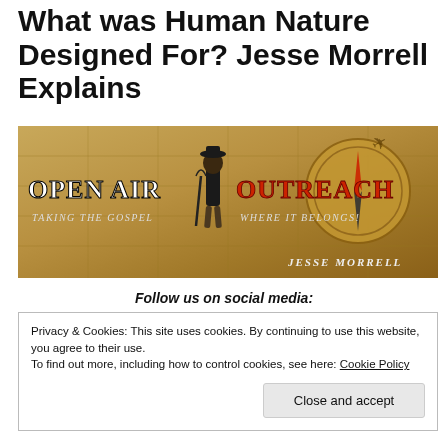What was Human Nature Designed For? Jesse Morrell Explains
[Figure (illustration): Open Air Outreach banner featuring Jesse Morrell — a man in old-fashioned suit and hat with umbrella, standing over a vintage map background. Text reads: OPEN AIR OUTREACH — Taking the Gospel Where it Belongs! Jesse Morrell]
Follow us on social media:
Privacy & Cookies: This site uses cookies. By continuing to use this website, you agree to their use.
To find out more, including how to control cookies, see here: Cookie Policy
Close and accept